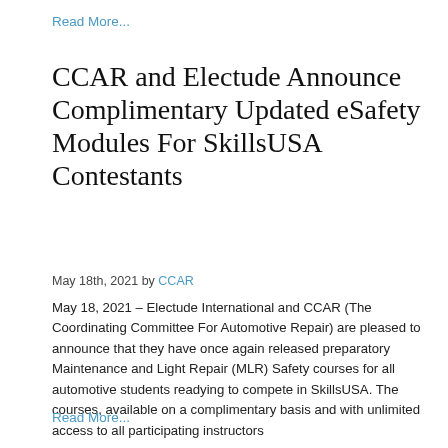Read More...
CCAR and Electude Announce Complimentary Updated eSafety Modules For SkillsUSA Contestants
May 18th, 2021 by CCAR
May 18, 2021 – Electude International and CCAR (The Coordinating Committee For Automotive Repair) are pleased to announce that they have once again released preparatory Maintenance and Light Repair (MLR) Safety courses for all automotive students readying to compete in SkillsUSA. The courses, available on a complimentary basis and with unlimited access to all participating instructors
Read More...